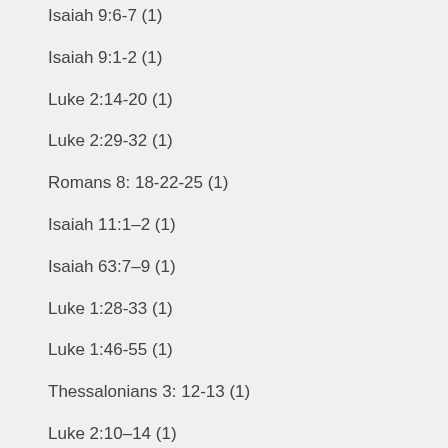Isaiah 9:6-7 (1)
Isaiah 9:1-2 (1)
Luke 2:14-20 (1)
Luke 2:29-32 (1)
Romans 8: 18-22-25 (1)
Isaiah 11:1–2 (1)
Isaiah 63:7–9 (1)
Luke 1:28-33 (1)
Luke 1:46-55 (1)
Thessalonians 3: 12-13 (1)
Luke 2:10–14 (1)
Isaiah 35:10 (1)